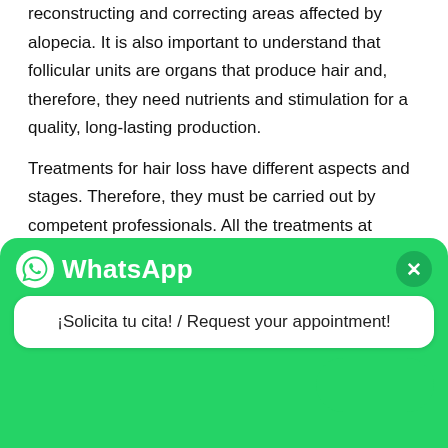reconstructing and correcting areas affected by alopecia. It is also important to understand that follicular units are organs that produce hair and, therefore, they need nutrients and stimulation for a quality, long-lasting production.
Treatments for hair loss have different aspects and stages. Therefore, they must be carried out by competent professionals. All the treatments at Insparya are performed by doctors and nurses. Our clinical team will tell you which are the best methods and products to solve the problem that is right for you, from when to start an anti-alopecia or post-transplant quality hair plan. At Insparya, our trichology unit is prepared to prevent and treat hair loss (alopecia). Every treatment may be applied to any patient regardless of the degree of hair loss, and also to patients who have undergone a hair transplant, improving the health of their
[Figure (screenshot): WhatsApp popup overlay with green header showing WhatsApp logo and title, a white bubble saying '¡Solicita tu cita! / Request your appointment!' and a green rounded button at bottom right.]